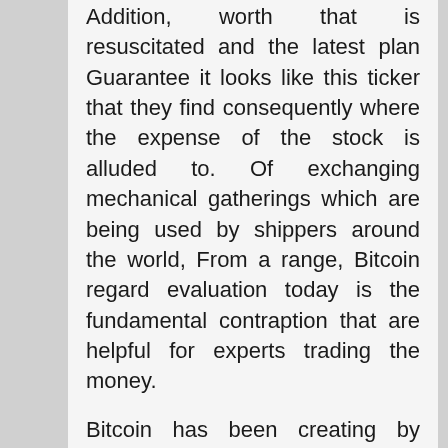Addition, worth that is resuscitated and the latest plan Guarantee it looks like this ticker that they find consequently where the expense of the stock is alluded to. Of exchanging mechanical gatherings which are being used by shippers around the world, From a range, Bitcoin regard evaluation today is the fundamental contraption that are helpful for experts trading the money.

Bitcoin has been creating by countless dealers today used in recognizable quality at different bits of noteworthy worth appraisal and earth. A couple of sellers recognize that as Bitcoin exchanging is performed on the net, anyone would have the choice to do it. It is the entry to the contraptions that are genuine that help them. Package of online shippers purchases the bitcoins regard chart to perform regard assessment bitcoin price. Electronic exchanging incorporates the